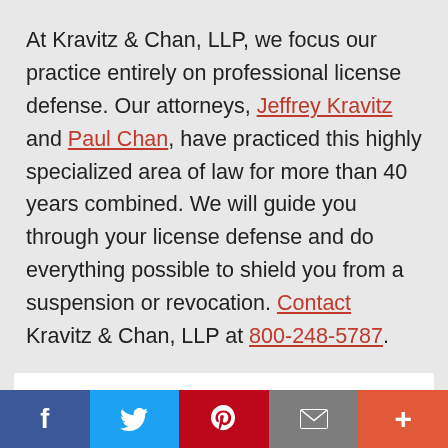At Kravitz & Chan, LLP, we focus our practice entirely on professional license defense. Our attorneys, Jeffrey Kravitz and Paul Chan, have practiced this highly specialized area of law for more than 40 years combined. We will guide you through your license defense and do everything possible to shield you from a suspension or revocation. Contact Kravitz & Chan, LLP at 800-248-5787.
CSLB License Defense Attorney Alameda County
The services provided by our team at Kravitz & Chan LLP include a wide variety of different fields of law and various layering skills. With 20 years in
f  Twitter  Pinterest  Email  +